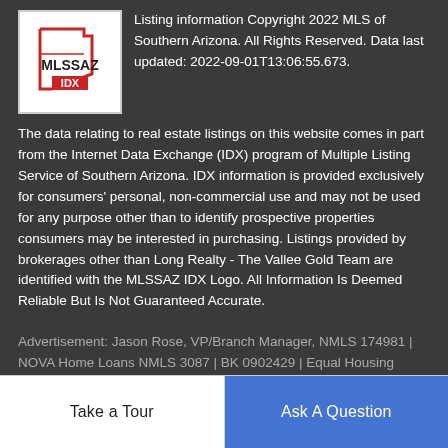[Figure (logo): MLSSAZ IDX logo — white background box with red/blue outline of Arizona state shape and text 'MLSSAZ IDX']
Listing information Copyright 2022 MLS of Southern Arizona. All Rights Reserved. Data last updated: 2022-09-01T13:06:55.673.
The data relating to real estate listings on this website comes in part from the Internet Data Exchange (IDX) program of Multiple Listing Service of Southern Arizona. IDX information is provided exclusively for consumers' personal, non-commercial use and may not be used for any purpose other than to identify prospective properties consumers may be interested in purchasing. Listings provided by brokerages other than Long Realty - The Vallee Gold Team are identified with the MLSSAZ IDX Logo. All Information Is Deemed Reliable But Is Not Guaranteed Accurate.
Advertisement: Jason Rose, VP/Branch Manager, NMLS 174981 | NOVA Home Loans NMLS 3087 | BK 0902429 | Equal Housing Lender
Take a Tour
Ask A Question